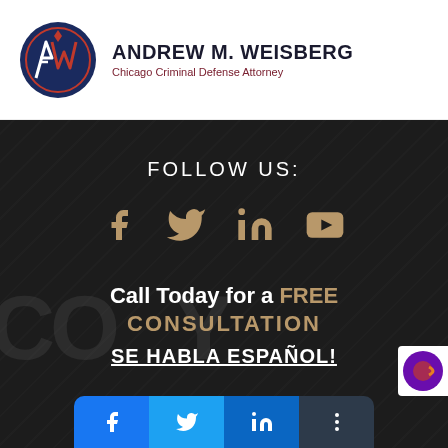[Figure (logo): Andrew M. Weisberg law firm logo with stylized AW monogram in blue and dark red, with text ANDREW M. WEISBERG and subtitle Chicago Criminal Defense Attorney]
[Figure (infographic): Dark textured background section with FOLLOW US: text, four social media icons (Facebook, Twitter, LinkedIn, YouTube) in gold, a call-to-action text reading Call Today for a FREE CONSULTATION, SE HABLA ESPAÑOL! text, watermark letters CO...Y, a corner widget with purple circular logo, and a share bar at the bottom with Facebook, Twitter, LinkedIn, and a layers/more icon buttons]